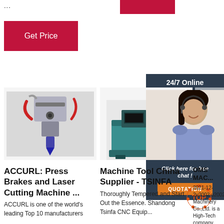...
[Figure (other): Red button (partial, top right)]
[Figure (other): Get Price red button]
[Figure (other): 24/7 Online dark panel with customer service representative photo]
[Figure (photo): Industrial laser cutting machine head close-up]
[Figure (photo): WINMAN CNC machine tool teal colored]
[Figure (photo): Industrial blue drums/barrels storage]
Click here for free chat !
QUOTATION
[Figure (logo): TOP orange logo badge]
ACCURL: Press Brakes and Laser Cutting Machine ...
ACCURL is one of the world's leading Top 10 manufacturers
Machine Tool China Supplier - TSINFA
Thoroughly Tempered and Start Out the Essence. Shandong Tsinfa CNC Equipment C...
OMS MACHINERY CO.,LTD...
2021-12-2u2002·u2002OMS Machinery Co.,Ltd. is a High-Tech company, dedicated to the development